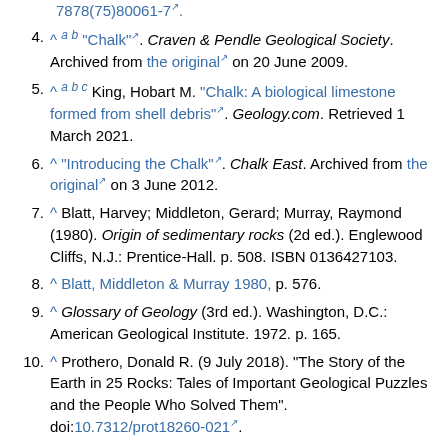7878(75)80061-7.
4. ^ a b "Chalk". Craven & Pendle Geological Society. Archived from the original on 20 June 2009.
5. ^ a b c King, Hobart M. "Chalk: A biological limestone formed from shell debris". Geology.com. Retrieved 1 March 2021.
6. ^ "Introducing the Chalk". Chalk East. Archived from the original on 3 June 2012.
7. ^ Blatt, Harvey; Middleton, Gerard; Murray, Raymond (1980). Origin of sedimentary rocks (2d ed.). Englewood Cliffs, N.J.: Prentice-Hall. p. 508. ISBN 0136427103.
8. ^ Blatt, Middleton & Murray 1980, p. 576.
9. ^ Glossary of Geology (3rd ed.). Washington, D.C.: American Geological Institute. 1972. p. 165.
10. ^ Prothero, Donald R. (9 July 2018). "The Story of the Earth in 25 Rocks: Tales of Important Geological Puzzles and the People Who Solved Them". doi:10.7312/prot18260-021.
11. ^ a b Pearson, Krystal (2012). "Geologic models and evaluation of undiscovered conventional and continuous oil and gas resources: Upper Cretaceous Austin Chalk". U.S. Geological Survey Scientific Investigations Report. Scientific Investigations Report. 2012-5159. doi:10.3133/sir20125159